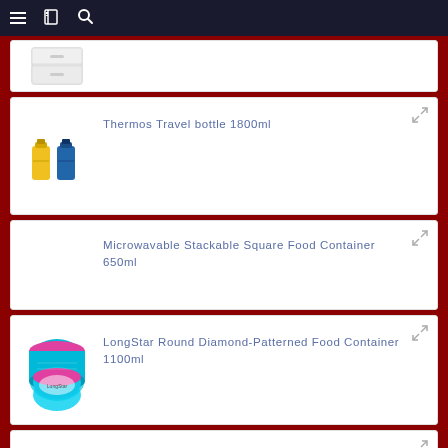Navigation bar with hamburger menu, book icon, and search icon
[Figure (photo): Partial product card showing a white drawer unit or printer]
Thermos Travel bottle 1800ml
[Figure (photo): Yellow and blue small thermos travel bottles]
Microwavable Stackable Square Food Container 650ml
LongStar Round Diamond-Patterned Food Container 1100ml
[Figure (photo): Round pink-lidded food containers with diamond pattern]
Glass Cooking Oil Bottle 600ml
[Figure (photo): Glass cooking oil bottle with green lid]